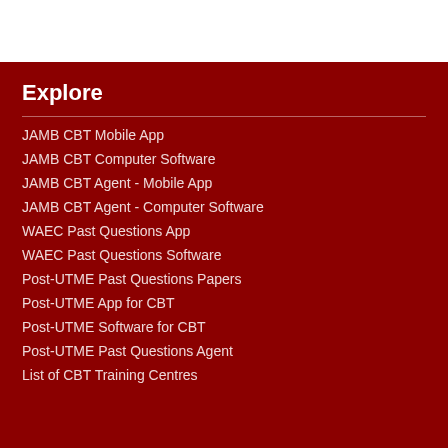Explore
JAMB CBT Mobile App
JAMB CBT Computer Software
JAMB CBT Agent - Mobile App
JAMB CBT Agent - Computer Software
WAEC Past Questions App
WAEC Past Questions Software
Post-UTME Past Questions Papers
Post-UTME App for CBT
Post-UTME Software for CBT
Post-UTME Past Questions Agent
List of CBT Training Centres